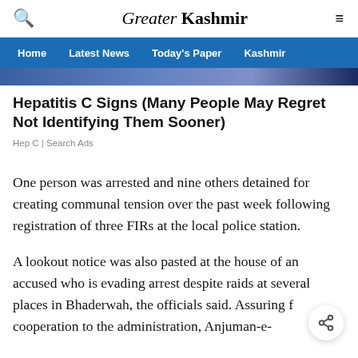Greater Kashmir
Home | Latest News | Today's Paper | Kashmir
[Figure (other): Partial banner/advertisement image strip with blue gradient colors]
Hepatitis C Signs (Many People May Regret Not Identifying Them Sooner)
Hep C | Search Ads
One person was arrested and nine others detained for creating communal tension over the past week following registration of three FIRs at the local police station.
A lookout notice was also pasted at the house of an accused who is evading arrest despite raids at several places in Bhaderwah, the officials said. Assuring f cooperation to the administration, Anjuman-e-